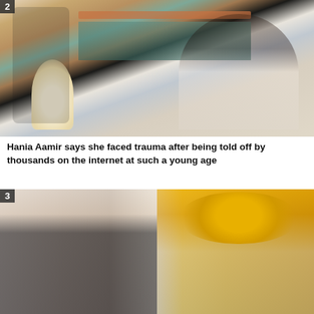[Figure (photo): Photo of Hania Aamir sitting in a room with bookshelves and a lamp, gesturing with her hands while speaking. Number '2' label in top-left corner.]
Hania Aamir says she faced trauma after being told off by thousands on the internet at such a young age
[Figure (photo): Photo showing two men: on the left a man in a suit, on the right a man wearing a yellow turban. Number '3' label in top-left corner.]